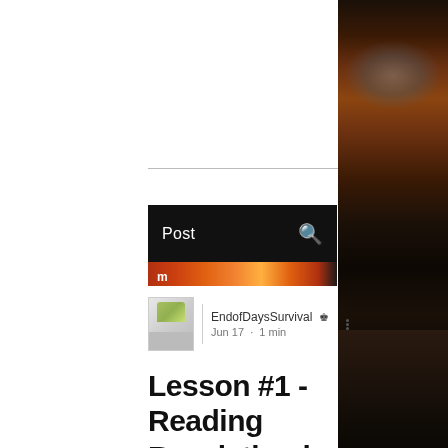[Figure (photo): Right-side panel showing a dramatic sunset/dusk sky with dark clouds, orange and red hues, and silhouetted trees at the bottom]
[Figure (screenshot): Website navigation bar with black background showing 'Post' label on left and search icon on right, with a fiery image strip below]
[Figure (photo): Author avatar thumbnail showing a small green leaf/nature image]
EndofDaysSurvival Admin
Jun 17 · 1 min
Lesson #1 - Reading Revelation in chronological order once you remove John's